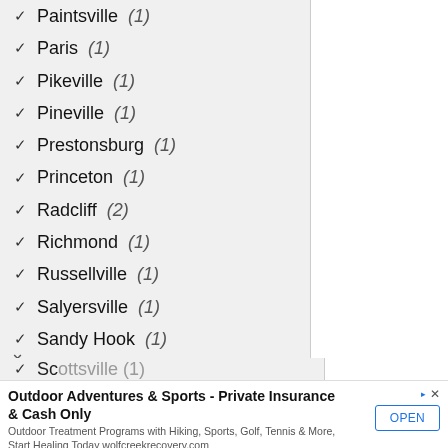✓ Paintsville (1)
✓ Paris (1)
✓ Pikeville (1)
✓ Pineville (1)
✓ Prestonsburg (1)
✓ Princeton (1)
✓ Radcliff (2)
✓ Richmond (1)
✓ Russellville (1)
✓ Salyersville (1)
✓ Sandy Hook (1)
Scottsville (1) [partially visible]
Outdoor Adventures & Sports - Private Insurance & Cash Only
Outdoor Treatment Programs with Hiking, Sports, Golf, Tennis & More, Start Healing Today wolfcreekrecovery.com
OPEN